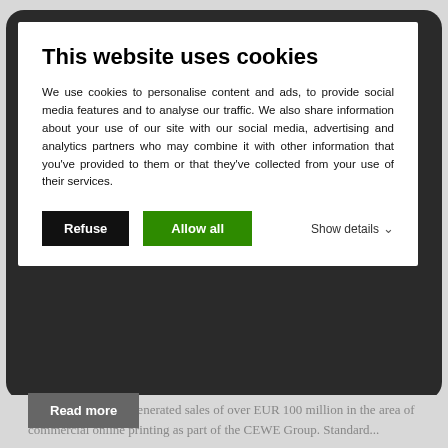This website uses cookies
We use cookies to personalise content and ads, to provide social media features and to analyse our traffic. We also share information about your use of our site with our social media, advertising and analytics partners who may combine it with other information that you've provided to them or that they've collected from your use of their services.
years, and last year generated sales of over EUR 100 million in the area of commercial online printing as part of the CEWE Group. Standard...